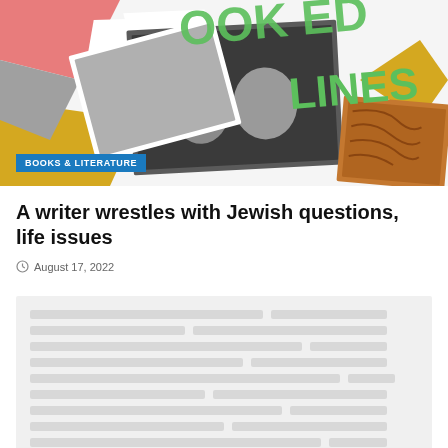[Figure (photo): Colorful collage-style header image with scattered photos including a black-and-white photo of a young boy and a woman smiling, overlaid with large green text reading 'BOOKED LINES' on a white and yellow geometric background]
BOOKS & LITERATURE
A writer wrestles with Jewish questions, life issues
August 17, 2022
[Figure (photo): Blurred/redacted image block representing article content or an embedded photograph]